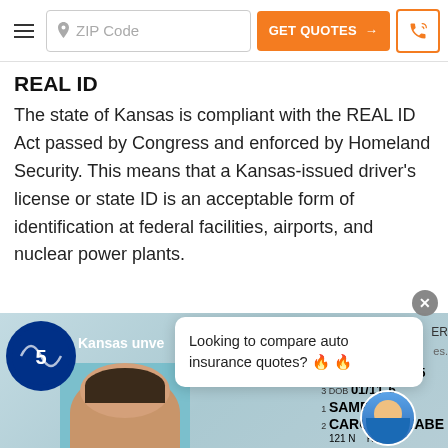ZIP Code | GET QUOTES → | [phone icon]
REAL ID
The state of Kansas is compliant with the REAL ID Act passed by Congress and enforced by Homeland Security. This means that a Kansas-issued driver's license or state ID is an acceptable form of identification at federal facilities, airports, and nuclear power plants.
[Figure (screenshot): CBS5 Kansas news screenshot showing a Kansas driver's license sample with name CARON ELIZABETH, DOB 01/11, LIC. NO. K12-34-5, overlaid with a popup reading 'Looking to compare auto insurance quotes? 🔥🔥' and a customer service agent photo.]